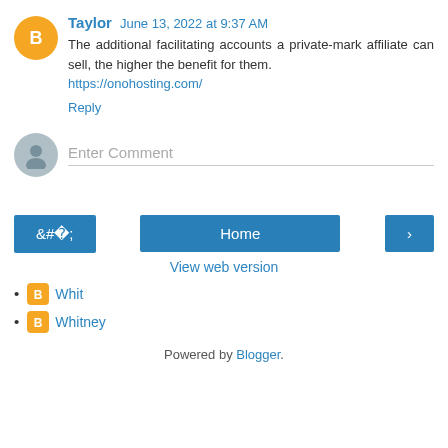Taylor  June 13, 2022 at 9:37 AM
The additional facilitating accounts a private-mark affiliate can sell, the higher the benefit for them. https://onohosting.com/
Reply
Enter Comment
[Figure (infographic): Navigation row with left arrow button, Home button, and right arrow button]
View web version
Whit
Whitney
Powered by Blogger.